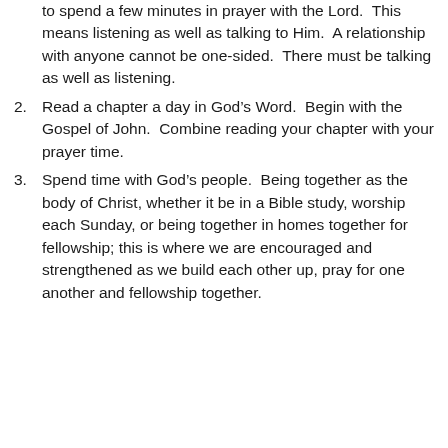to spend a few minutes in prayer with the Lord.  This means listening as well as talking to Him.  A relationship with anyone cannot be one-sided.  There must be talking as well as listening.
2. Read a chapter a day in God’s Word.  Begin with the Gospel of John.  Combine reading your chapter with your prayer time.
3. Spend time with God’s people.  Being together as the body of Christ, whether it be in a Bible study, worship each Sunday, or being together in homes together for fellowship; this is where we are encouraged and strengthened as we build each other up, pray for one another and fellowship together.